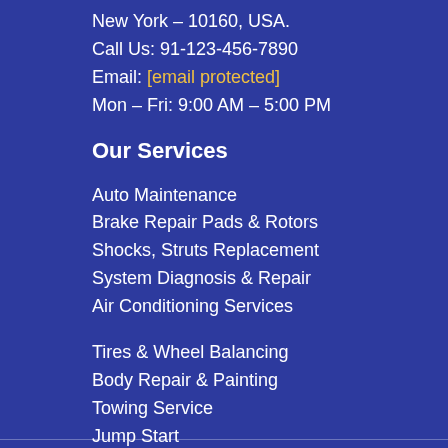New York – 10160, USA.
Call Us: 91-123-456-7890
Email: [email protected]
Mon – Fri: 9:00 AM – 5:00 PM
Our Services
Auto Maintenance
Brake Repair Pads & Rotors
Shocks, Struts Replacement
System Diagnosis & Repair
Air Conditioning Services
Tires & Wheel Balancing
Body Repair & Painting
Towing Service
Jump Start